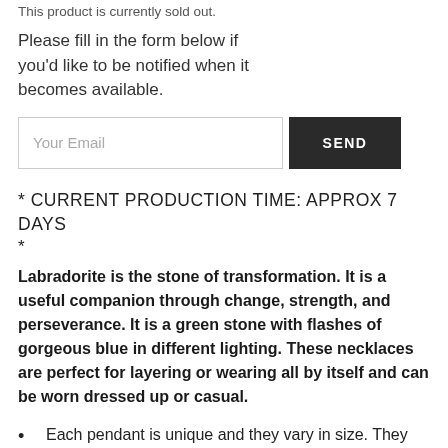This product is currently sold out.
Please fill in the form below if you'd like to be notified when it becomes available.
[Figure (other): Email input field with placeholder 'Your Email' and a dark SEND button]
* CURRENT PRODUCTION TIME: APPROX 7 DAYS *
Labradorite is the stone of transformation. It is a useful companion through change, strength, and perseverance. It is a green stone with flashes of gorgeous blue in different lighting. These necklaces are perfect for layering or wearing all by itself and can be worn dressed up or casual.
Each pendant is unique and they vary in size. They are approx. 1.25 - 1.5 inches in length and .75 - 1 inch wide.